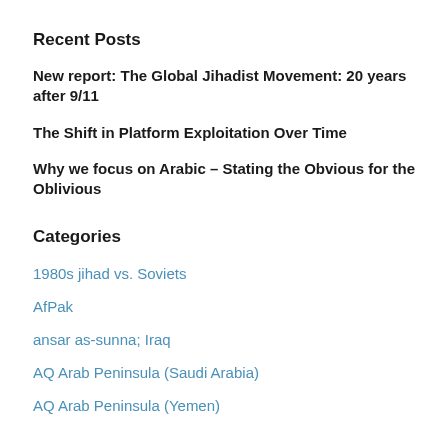Recent Posts
New report: The Global Jihadist Movement: 20 years after 9/11
The Shift in Platform Exploitation Over Time
Why we focus on Arabic – Stating the Obvious for the Oblivious
Categories
1980s jihad vs. Soviets
AfPak
ansar as-sunna; Iraq
AQ Arab Peninsula (Saudi Arabia)
AQ Arab Peninsula (Yemen)